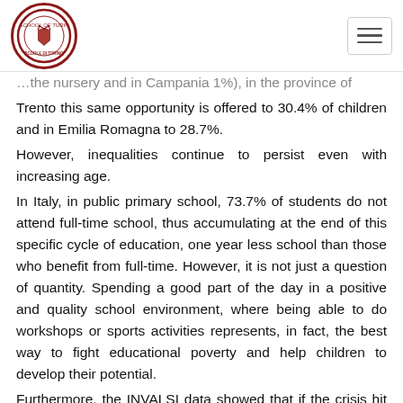School of Turin logo and navigation
…the nursery and in Campania 1%), in the province of Trento this same opportunity is offered to 30.4% of children and in Emilia Romagna to 28.7%.
However, inequalities continue to persist even with increasing age.
In Italy, in public primary school, 73.7% of students do not attend full-time school, thus accumulating at the end of this specific cycle of education, one year less school than those who benefit from full-time. However, it is not just a question of quantity. Spending a good part of the day in a positive and quality school environment, where being able to do workshops or sports activities represents, in fact, the best way to fight educational poverty and help children to develop their potential.
Furthermore, the INVALSI data showed that if the crisis hit and severely tested all students, the most serious consequences were mainly children and young people who already lived in a disadvantaged condition, who